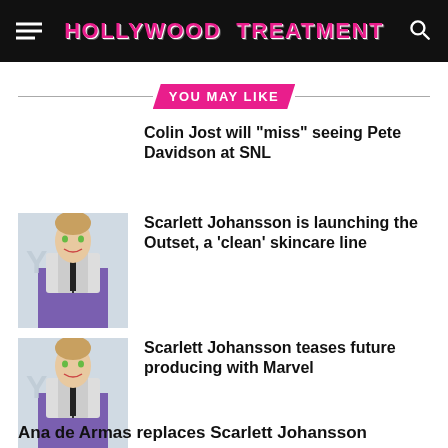HOLLYWOOD TREATMENT
YOU MAY LIKE
Colin Jost will "miss" seeing Pete Davidson at SNL
[Figure (photo): Photo of Scarlett Johansson in a white and black corset top with purple skirt]
Scarlett Johansson is launching the Outset, a 'clean' skincare line
[Figure (photo): Photo of Scarlett Johansson in a white and black corset top with purple skirt]
Scarlett Johansson teases future producing with Marvel
Ana de Armas replaces Scarlett Johansson